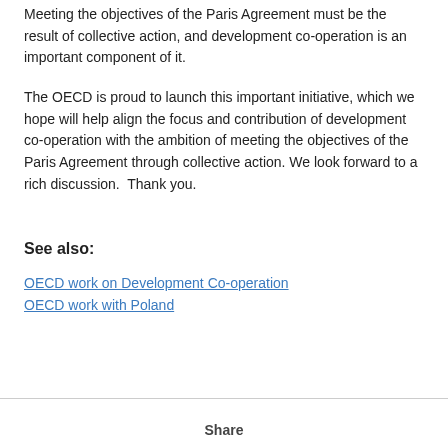Meeting the objectives of the Paris Agreement must be the result of collective action, and development co-operation is an important component of it.
The OECD is proud to launch this important initiative, which we hope will help align the focus and contribution of development co-operation with the ambition of meeting the objectives of the Paris Agreement through collective action. We look forward to a rich discussion.  Thank you.
See also:
OECD work on Development Co-operation
OECD work with Poland
Share